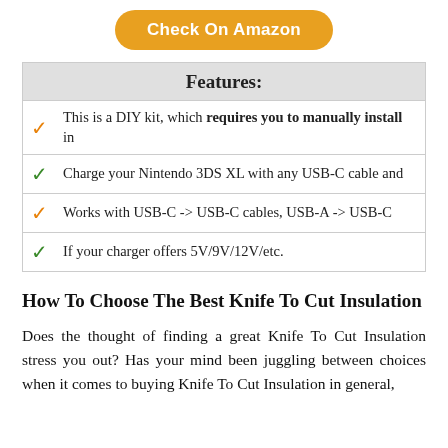Check On Amazon
Features:
This is a DIY kit, which requires you to manually install in
Charge your Nintendo 3DS XL with any USB-C cable and
Works with USB-C -> USB-C cables, USB-A -> USB-C
If your charger offers 5V/9V/12V/etc.
How To Choose The Best Knife To Cut Insulation
Does the thought of finding a great Knife To Cut Insulation stress you out? Has your mind been juggling between choices when it comes to buying Knife To Cut Insulation in general,